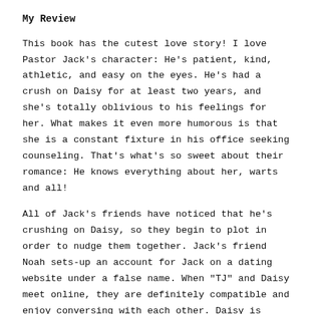My Review
This book has the cutest love story!  I love Pastor Jack's character: He's patient, kind, athletic, and easy on the eyes.  He's had a crush on Daisy for at least two years, and she's totally oblivious to his feelings for her.  What makes it even more humorous is that she is a constant fixture in his office seeking counseling.  That's what's so sweet about their romance: He knows everything about her, warts and all!
All of Jack's friends have noticed that he's crushing on Daisy, so they begin to plot in order to nudge them together.  Jack's friend Noah sets-up an account for Jack on a dating website under a false name.  When "TJ" and Daisy meet online, they are definitely compatible and enjoy conversing with each other.  Daisy is definitely smitten with TJ, but at the same time she starts going on rock climbing dates with Jack.  She becomes torn between the two, and she wants to meet TJ in person.
If Daisy's love life isn't enough to keep a reader entertained...